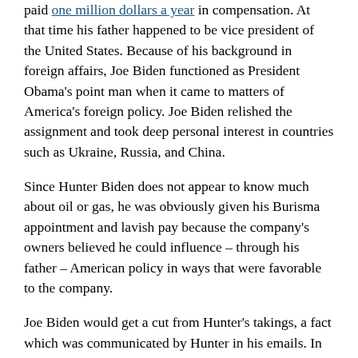paid one million dollars a year in compensation. At that time his father happened to be vice president of the United States. Because of his background in foreign affairs, Joe Biden functioned as President Obama's point man when it came to matters of America's foreign policy. Joe Biden relished the assignment and took deep personal interest in countries such as Ukraine, Russia, and China.
Since Hunter Biden does not appear to know much about oil or gas, he was obviously given his Burisma appointment and lavish pay because the company's owners believed he could influence – through his father – American policy in ways that were favorable to the company.
Joe Biden would get a cut from Hunter's takings, a fact which was communicated by Hunter in his emails. In their drive to enrich themselves, the Bidens would enter relationships with some of the shadiest characters around. Burisma, for instance, was co-founded by a well-known corrupt Ukrainian oligarch who is now a